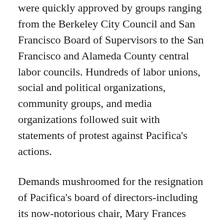were quickly approved by groups ranging from the Berkeley City Council and San Francisco Board of Supervisors to the San Francisco and Alameda County central labor councils. Hundreds of labor unions, social and political organizations, community groups, and media organizations followed suit with statements of protest against Pacifica's actions.
Demands mushroomed for the resignation of Pacifica's board of directors-including its now-notorious chair, Mary Frances Berry-and Executive Director Lynn Chadwick.
Thousands fill the streets